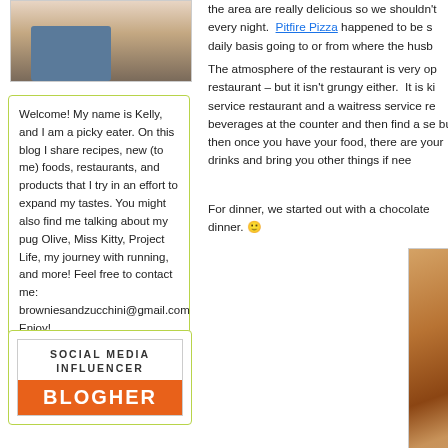[Figure (photo): Profile photo of a person (Kelly) holding a pug dog, wearing a striped top]
Welcome! My name is Kelly, and I am a picky eater. On this blog I share recipes, new (to me) foods, restaurants, and products that I try in an effort to expand my tastes. You might also find me talking about my pug Olive, Miss Kitty, Project Life, my journey with running, and more! Feel free to contact me: browniesandzucchini@gmail.com Enjoy!
[Figure (logo): Social Media Influencer BlogHer badge with orange bar and white BLOGHER text]
the area are really delicious so we shouldn't every night.  Pitfire Pizza happened to be s daily basis going to or from where the husb
The atmosphere of the restaurant is very op restaurant – but it isn't grungy either.  It is ki service restaurant and a waitress service re beverages at the counter and then find a se but then once you have your food, there are your drinks and bring you other things if nee
For dinner, we started out with a chocolate dinner. 🙂
[Figure (photo): Close-up photo of a chocolate chip cookie on a plate with a Pitfire Pizza paper cup visible in background]